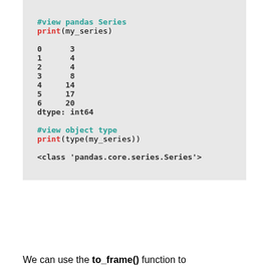#view pandas Series
print(my_series)

0      3
1      4
2      4
3      8
4     14
5     17
6     20
dtype: int64

#view object type
print(type(my_series))

<class 'pandas.core.series.Series'>
We can use the to_frame() function to